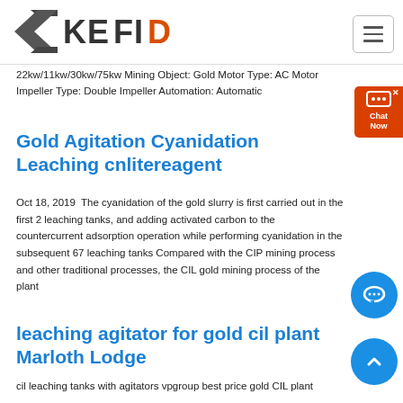[Figure (logo): KEFID logo with arrow/chevron graphic in dark gray and red letter D]
22kw/11kw/30kw/75kw Mining Object: Gold Motor Type: AC Motor Impeller Type: Double Impeller Automation: Automatic
Gold Agitation Cyanidation Leaching cnlitereagent
Oct 18, 2019  The cyanidation of the gold slurry is first carried out in the first 2 leaching tanks, and adding activated carbon to the countercurrent adsorption operation while performing cyanidation in the subsequent 67 leaching tanks Compared with the CIP mining process and other traditional processes, the CIL gold mining process of the plant
leaching agitator for gold cil plant Marloth Lodge
cil leaching tanks with agitators vpgroup best price gold CIL plant